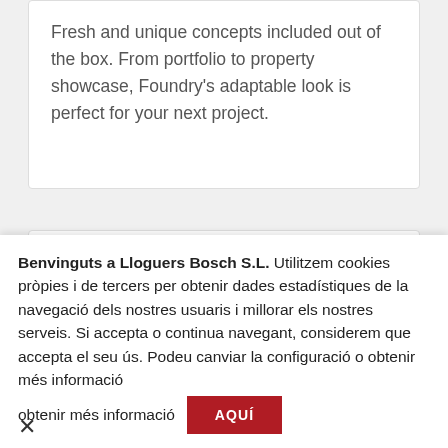Fresh and unique concepts included out of the box. From portfolio to property showcase, Foundry's adaptable look is perfect for your next project.
One / Multi
Benvinguts a Lloguers Bosch S.L. Utilitzem cookies pròpies i de tercers per obtenir dades estadístiques de la navegació dels nostres usuaris i millorar els nostres serveis. Si accepta o continua navegant, considerem que accepta el seu ús. Podeu canviar la configuració o obtenir més informació AQUÍ